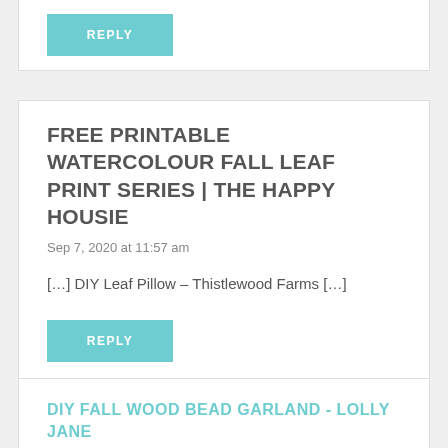REPLY
FREE PRINTABLE WATERCOLOUR FALL LEAF PRINT SERIES | THE HAPPY HOUSIE
Sep 7, 2020 at 11:57 am
[…] DIY Leaf Pillow – Thistlewood Farms […]
REPLY
DIY FALL WOOD BEAD GARLAND - LOLLY JANE